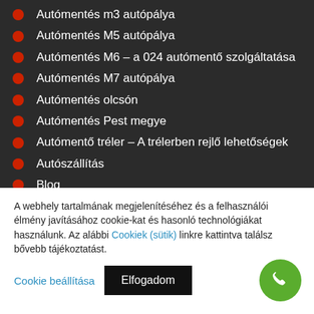Autómentés m3 autópálya
Autómentés M5 autópálya
Autómentés M6 – a 024 autómentő szolgáltatása
Autómentés M7 autópálya
Autómentés olcsón
Autómentés Pest megye
Autómentő tréler – A trélerben rejlő lehetőségek
Autószállítás
Blog
A webhely tartalmának megjelenítéséhez és a felhasználói élmény javításához cookie-kat és hasonló technológiákat használunk. Az alábbi Cookiek (sütik) linkre kattintva találsz bővebb tájékoztatást.
Cookie beállítása | Elfogadom